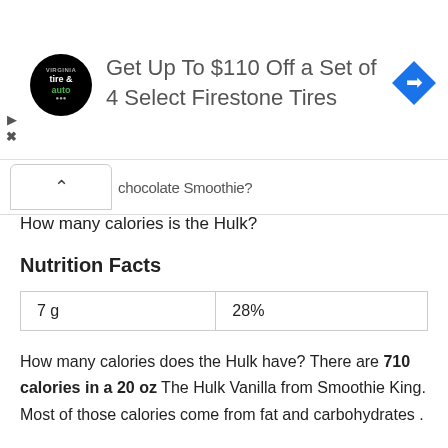[Figure (infographic): Advertisement banner: circular tire & auto logo, text 'Get Up To $110 Off a Set of 4 Select Firestone Tires', blue diamond navigation arrow icon]
chocolate Smoothie?
How many calories is the Hulk?
Nutrition Facts
| 7 g | 28% |
How many calories does the Hulk have? There are 710 calories in a 20 oz The Hulk Vanilla from Smoothie King. Most of those calories come from fat and carbohydrates .